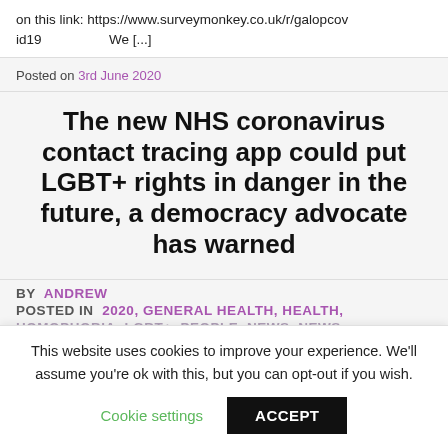on this link: https://www.surveymonkey.co.uk/r/galopcovid19                    We [...]
Posted on 3rd June 2020
The new NHS coronavirus contact tracing app could put LGBT+ rights in danger in the future, a democracy advocate has warned
BY ANDREW
POSTED IN 2020, GENERAL HEALTH, HEALTH,
HOMOPHOBIA, LGBT+, PEOPLE, NEWS, NEWS
This website uses cookies to improve your experience. We'll assume you're ok with this, but you can opt-out if you wish.
Cookie settings
ACCEPT